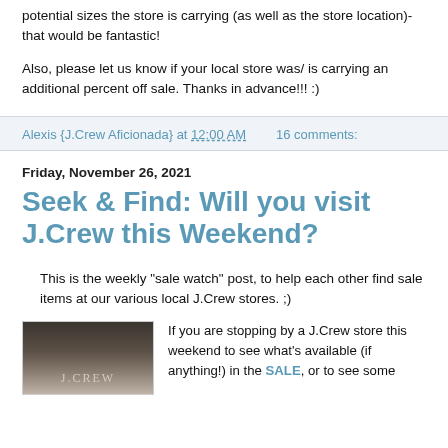potential sizes the store is carrying (as well as the store location)- that would be fantastic!
Also, please let us know if your local store was/ is carrying an additional percent off sale. Thanks in advance!!! :)
Alexis {J.Crew Aficionada} at 12:00 AM    16 comments:
Friday, November 26, 2021
Seek & Find: Will you visit J.Crew this Weekend?
This is the weekly "sale watch" post, to help each other find sale items at our various local J.Crew stores. ;)
[Figure (photo): J.Crew store sign/facade with dark background and logo text]
If you are stopping by a J.Crew store this weekend to see what's available (if anything!) in the SALE, or to see some